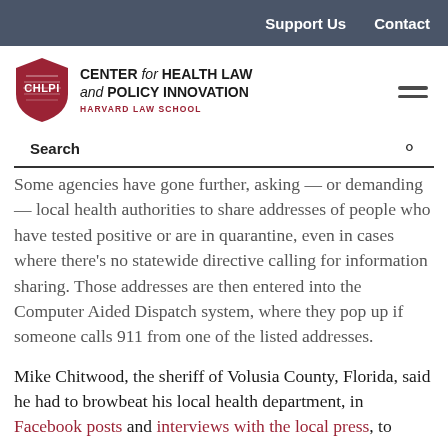Support Us   Contact
[Figure (logo): CHLPI shield logo with text: CENTER for HEALTH LAW and POLICY INNOVATION, HARVARD LAW SCHOOL]
Search
Some agencies have gone further, asking — or demanding — local health authorities to share addresses of people who have tested positive or are in quarantine, even in cases where there's no statewide directive calling for information sharing. Those addresses are then entered into the Computer Aided Dispatch system, where they pop up if someone calls 911 from one of the listed addresses.
Mike Chitwood, the sheriff of Volusia County, Florida, said he had to browbeat his local health department, in Facebook posts and interviews with the local press, to